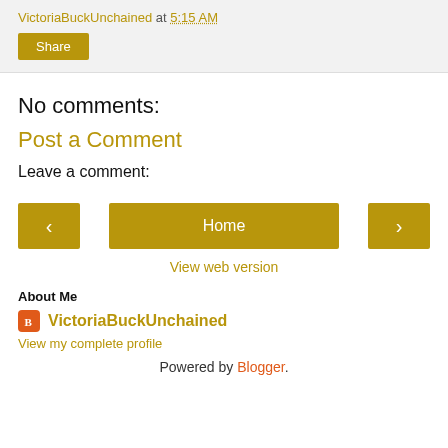VictoriaBuckUnchained at 5:15 AM
Share
No comments:
Post a Comment
Leave a comment:
‹  Home  ›
View web version
About Me
VictoriaBuckUnchained
View my complete profile
Powered by Blogger.